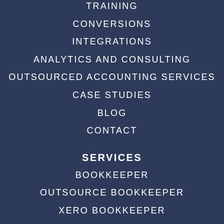TRAINING
CONVERSIONS
INTEGRATIONS
ANALYTICS AND CONSULTING
OUTSOURCED ACCOUNTING SERVICES
CASE STUDIES
BLOG
CONTACT
SERVICES
BOOKKEEPER
OUTSOURCE BOOKKEEPER
XERO BOOKKEEPER
BAS AGENT